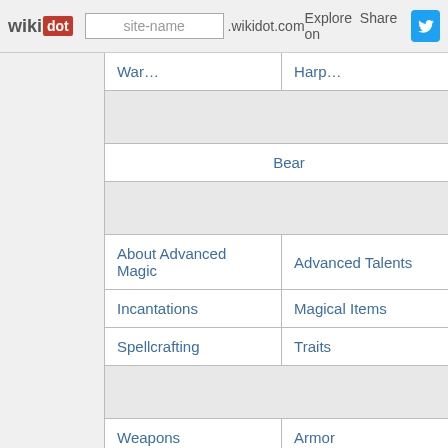wikidot | site-name .wikidot.com | Explore | Share on
| War… | Harp… |
| Bear |  |
| About Advanced Magic | Advanced Talents |
| Incantations | Magical Items |
| Spellcrafting | Traits |
|  |  |
| Weapons | Armor |
| Alchemical Items | Apparatus (Metam… |
| Fabled Items | Implement… |
| Scrolls | Spell Engine |
|  |  |
| … | … |